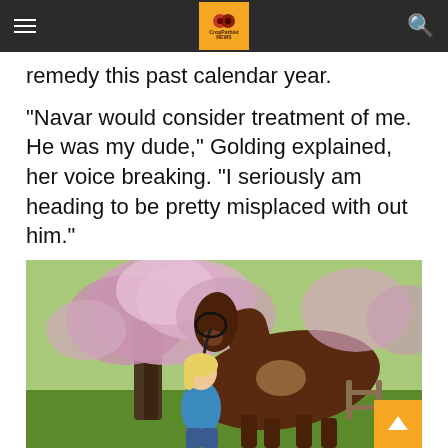CropPathist News
remedy this past calendar year.
“Navar would consider treatment of me. He was my dude,” Golding explained, her voice breaking. “I seriously am heading to be pretty misplaced with out him.”
[Figure (photo): A woman in a blue polo shirt stands holding the lead of a large dark brown horse beside a flowering cherry blossom tree with pink blooms, on a green lawn.]